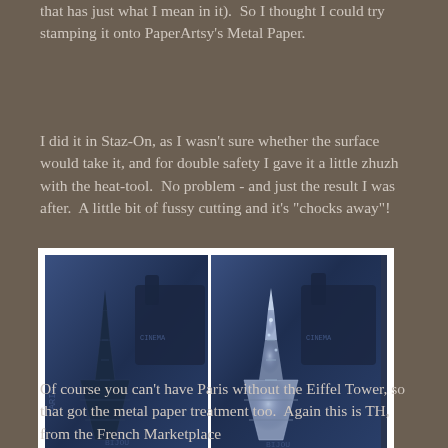that has just what I mean in it).  So I thought I could try stamping it onto PaperArtsy's Metal Paper.
I did it in Staz-On, as I wasn't sure whether the surface would take it, and for double safety I gave it a little zhuzh with the heat-tool.  No problem - and just the result I was after.  A little bit of fussy cutting and it's "chocks away"!
[Figure (photo): Two side-by-side photos in a white frame showing Eiffel Tower cutouts on decorative Paris-themed metal paper background. Left photo shows darker version, right photo shows shinier/glittery version.]
Of course you can't have Paris without the Eiffel Tower, so that got the metal paper treatment too.  Again this is TH, from the French Marketplace